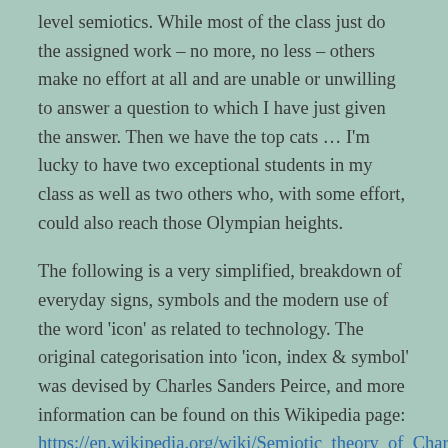level semiotics. While most of the class just do the assigned work – no more, no less – others make no effort at all and are unable or unwilling to answer a question to which I have just given the answer. Then we have the top cats … I'm lucky to have two exceptional students in my class as well as two others who, with some effort, could also reach those Olympian heights.
The following is a very simplified, breakdown of everyday signs, symbols and the modern use of the word 'icon' as related to technology. The original categorisation into 'icon, index & symbol' was devised by Charles Sanders Peirce, and more information can be found on this Wikipedia page: https://en.wikipedia.org/wiki/Semiotic_theory_of_Charles_Sanders_Peirce#II._Icon,_index,_symbol